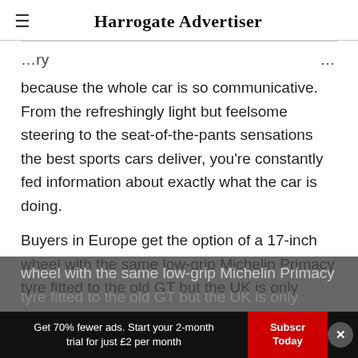Harrogate Advertiser
because the whole car is so communicative. From the refreshingly light but feelsome steering to the seat-of-the-pants sensations the best sports cars deliver, you're constantly fed information about exactly what the car is doing.
Buyers in Europe get the option of a 17-inch wheel with the same low-grip Michelin Primacy tyre fitted to the old GT but the UK is only
Get 70% fewer ads. Start your 2-month trial for just £2 per month